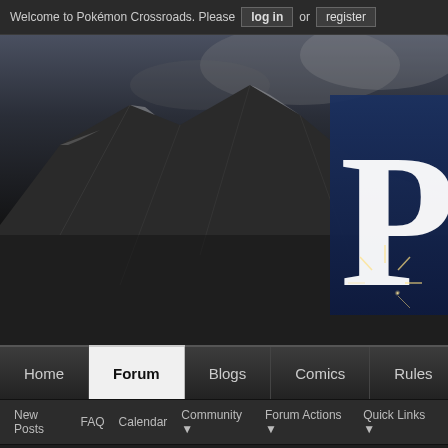Welcome to Pokémon Crossroads. Please log in or register
[Figure (screenshot): Hero banner image showing snowy mountain landscape in dark/grayscale tones with a large white letter 'Po' on a dark blue background panel on the right side, and a starburst light effect at bottom right]
Navigation bar: Home | Forum (active) | Blogs | Comics | Rules
Sub-navigation: New Posts | FAQ | Calendar | Community ▼ | Forum Actions ▼ | Quick Links ▼
Forum ➤ Community Board ➤ The Suggestion/Question Box ➤ Name Change/H…
W